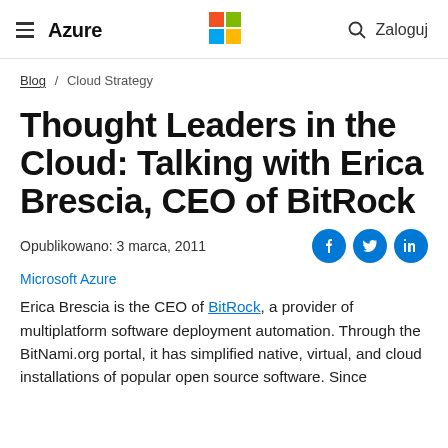Azure | Microsoft | Zaloguj
Blog / Cloud Strategy
Thought Leaders in the Cloud: Talking with Erica Brescia, CEO of BitRock
Opublikowano: 3 marca, 2011
Microsoft Azure
Erica Brescia is the CEO of BitRock, a provider of multiplatform software deployment automation. Through the BitNami.org portal, it has simplified native, virtual, and cloud installations of popular open source software. Since